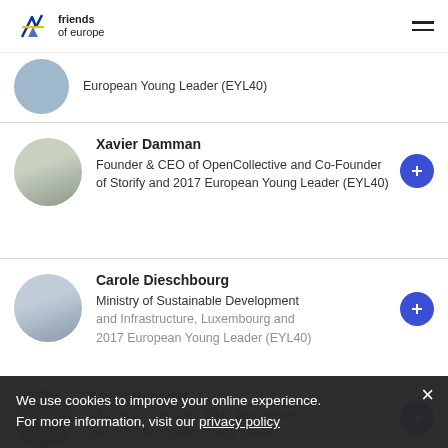friends of europe
European Young Leader (EYL40)
Xavier Damman
Founder & CEO of OpenCollective and Co-Founder of Storify and 2017 European Young Leader (EYL40)
Carole Dieschbourg
Ministry of Sustainable Development and Infrastructure, Luxembourg and 2017 European Young Leader (EYL40)
Xavier Duportet
CEO and Chairman, Eligo Bioscience and 2017 European Young Leader
We use cookies to improve your online experience.
For more information, visit our privacy policy